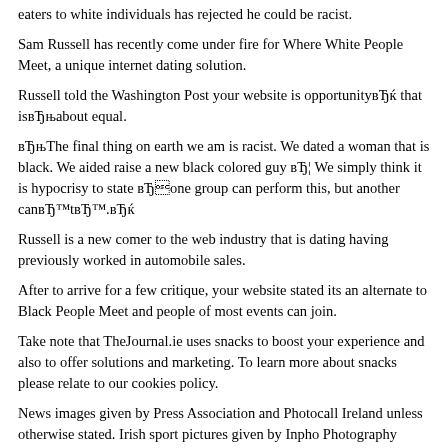eaters to white individuals has rejected he could be racist.
Sam Russell has recently come under fire for Where White People Meet, a unique internet dating solution.
Russell told the Washington Post your website is opportunityвЂќ that isвЂњabout equal.
вЂњThe final thing on earth we am is racist. We dated a woman that is black. We aided raise a new black colored guy вЂ¦ We simply think it is hypocrisy to state вЂone group can perform this, but another canвЂ™tвЂ™.вЂќ
Russell is a new comer to the web industry that is dating having previously worked in automobile sales.
After to arrive for a few critique, your website stated its an alternate to Black People Meet and people of most events can join.
Take note that TheJournal.ie uses snacks to boost your experience and also to offer solutions and marketing. To learn more about snacks please relate to our cookies policy.
News images given by Press Association and Photocall Ireland unless otherwise stated. Irish sport pictures given by Inpho Photography unless otherwise stated. Wire solution supplied by Associated Press.